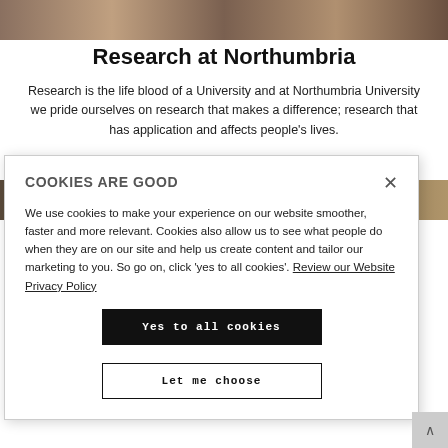[Figure (photo): Horizontal strip of photos showing people, partially visible at top of page]
Research at Northumbria
Research is the life blood of a University and at Northumbria University we pride ourselves on research that makes a difference; research that has application and affects people's lives.
[Figure (photo): Partial view of another photo strip partially hidden behind the cookie modal]
COOKIES ARE GOOD
We use cookies to make your experience on our website smoother, faster and more relevant. Cookies also allow us to see what people do when they are on our site and help us create content and tailor our marketing to you. So go on, click 'yes to all cookies'. Review our Website Privacy Policy